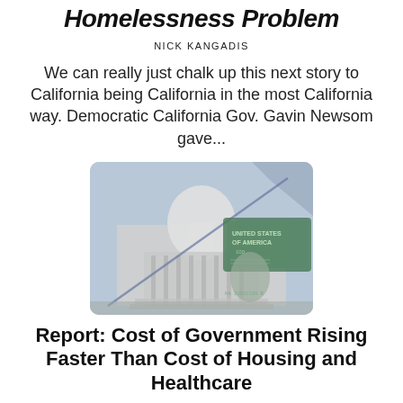Homelessness Problem
NICK KANGADIS
We can really just chalk up this next story to California being California in the most California way. Democratic California Gov. Gavin Newsom gave...
[Figure (photo): Composite image of the US Capitol building overlaid with a $100 bill and an upward trending arrow graphic, suggesting rising government costs.]
Report: Cost of Government Rising Faster Than Cost of Housing and Healthcare